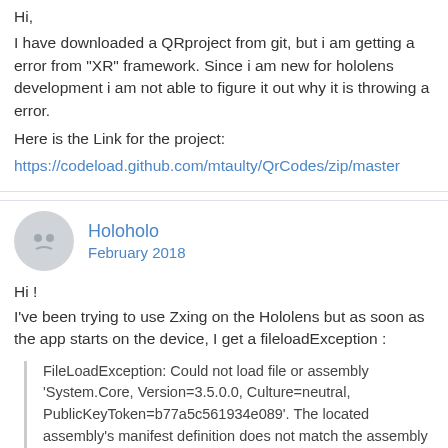Hi,
I have downloaded a QRproject from git, but i am getting a error from "XR" framework. Since i am new for hololens development i am not able to figure it out why it is throwing a error.
Here is the Link for the project:
https://codeload.github.com/mtaulty/QrCodes/zip/master
Holoholo
February 2018
Hi !
I've been trying to use Zxing on the Hololens but as soon as the app starts on the device, I get a fileloadException :
FileLoadException: Could not load file or assembly 'System.Core, Version=3.5.0.0, Culture=neutral, PublicKeyToken=b77a5c561934e089'. The located assembly's manifest definition does not match the assembly reference. (Exception from HRESULT: 0x80131040)
at ZXing.BarcodeReader..ctor()